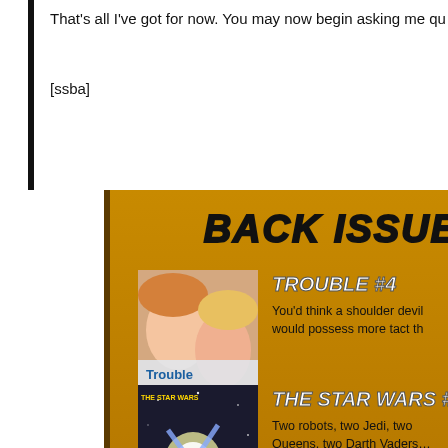That's all I've got for now. You may now begin asking me qu
[ssba]
BACK ISSUE
[Figure (illustration): Cover of Trouble #4 comic book]
TROUBLE #4
You'd think a shoulder devil would possess more tact th
[Figure (illustration): Cover of The Star Wars #3 comic book]
THE STAR WARS #3
Two robots, two Jedi, two Queens, two Darth Vaders… having trouble watching this video on the Screenwave p
[Figure (illustration): Cover of Bimbos in Time #1 comic book]
BIMBOS IN TIME #1
There are so few words that could describe this comic.